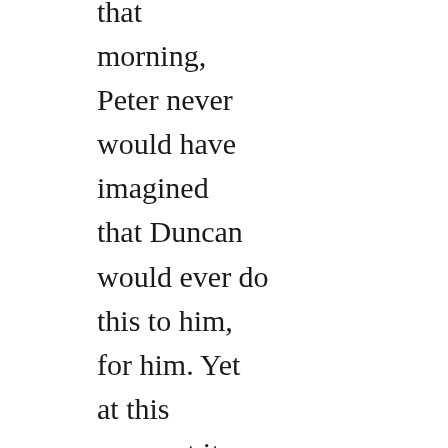that morning, Peter never would have imagined that Duncan would ever do this to him, for him. Yet at this moment it seemed like the logical conclusion to everything